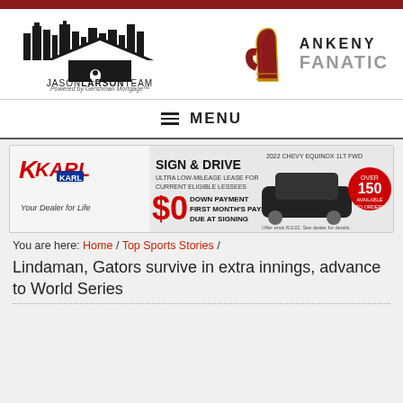[Figure (logo): Jason Larson Team logo - cityscape silhouette with house roof and text JASONLARSONTEAM, Powered by Gershman Mortgage]
[Figure (logo): Ankeny Fanatic logo - foam finger #1 with ANKENY FANATIC text]
≡  MENU
[Figure (advertisement): Karl Chevrolet ad: SIGN & DRIVE, Ultra Low-Mileage Lease for Current Eligible Lessees, $0 Down Payment, First Month's Payment Due at Signing, 2022 Chevy Equinox 1LT FWD, Over 150 Available to Order!, Your Dealer for Life, Offer ends 8/1/22. See dealer for details.]
You are here: Home / Top Sports Stories / Lindaman, Gators survive in extra innings, advance to World Series